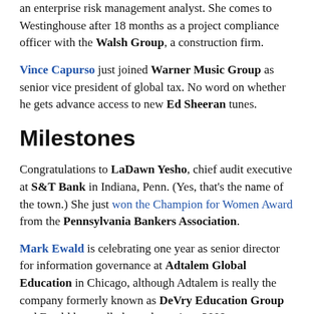an enterprise risk management analyst. She comes to Westinghouse after 18 months as a project compliance officer with the Walsh Group, a construction firm.
Vince Capurso just joined Warner Music Group as senior vice president of global tax. No word on whether he gets advance access to new Ed Sheeran tunes.
Milestones
Congratulations to LaDawn Yesho, chief audit executive at S&T Bank in Indiana, Penn. (Yes, that's the name of the town.) She just won the Champion for Women Award from the Pennsylvania Bankers Association.
Mark Ewald is celebrating one year as senior director for information governance at Adtalem Global Education in Chicago, although Adtalem is really the company formerly known as DeVry Education Group and Ewald has really been there since 2009.
Bill Carpenter just hit five years at JP Morgan, working in global financial crimes compliance.